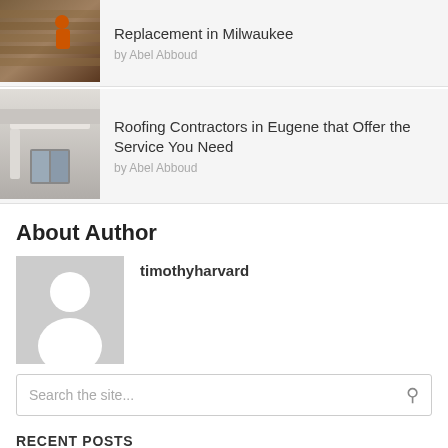[Figure (photo): Thumbnail photo of person working on rooftop with brown shingles]
Replacement in Milwaukee
by Abel Abboud
[Figure (photo): Thumbnail photo of house exterior with white gutter and roofing]
Roofing Contractors in Eugene that Offer the Service You Need
by Abel Abboud
About Author
[Figure (photo): Default grey avatar placeholder silhouette for timothyharvard]
timothyharvard
Search the site...
RECENT POSTS